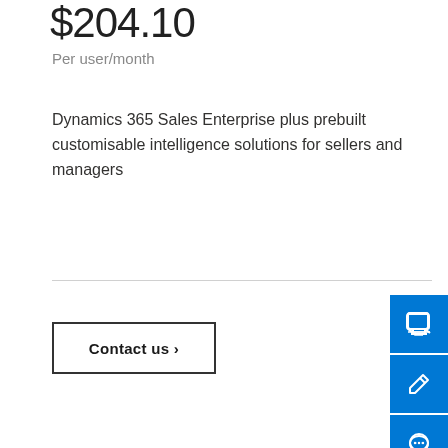$204.10
Per user/month
Dynamics 365 Sales Enterprise plus prebuilt customisable intelligence solutions for sellers and managers
Contact us >